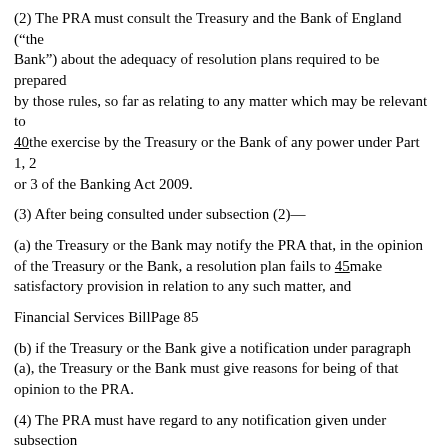(2) The PRA must consult the Treasury and the Bank of England (“the Bank”) about the adequacy of resolution plans required to be prepared by those rules, so far as relating to any matter which may be relevant to 40the exercise by the Treasury or the Bank of any power under Part 1, 2 or 3 of the Banking Act 2009.
(3) After being consulted under subsection (2)—
(a) the Treasury or the Bank may notify the PRA that, in the opinion of the Treasury or the Bank, a resolution plan fails to 45make satisfactory provision in relation to any such matter, and
Financial Services BillPage 85
(b) if the Treasury or the Bank give a notification under paragraph (a), the Treasury or the Bank must give reasons for being of that opinion to the PRA.
(4) The PRA must have regard to any notification given under subsection 5(3)(a) before considering whether any resolution plan makes satisfactory provision in relation to any such matter.